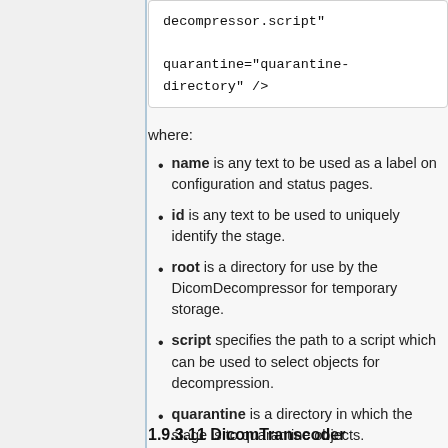[Figure (screenshot): Code snippet showing quarantine attribute: quarantine="quarantine-directory" />]
where:
name is any text to be used as a label on configuration and status pages.
id is any text to be used to uniquely identify the stage.
root is a directory for use by the DicomDecompressor for temporary storage.
script specifies the path to a script which can be used to select objects for decompression.
quarantine is a directory in which the stage is to quarantine objects.
1.9.3.11 DicomTranscoder